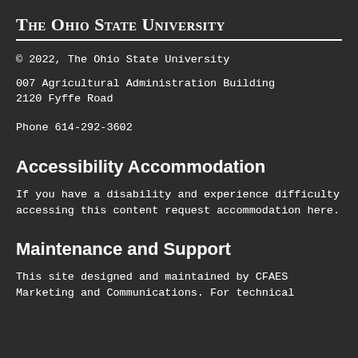The Ohio State University
© 2022, The Ohio State University
007 Agricultural Administration Building
2120 Fyffe Road
Phone 614-292-3602
Accessibility Accommodation
If you have a disability and experience difficulty accessing this content request accommodation here.
Maintenance and Support
This site designed and maintained by CFAES Marketing and Communications. For technical